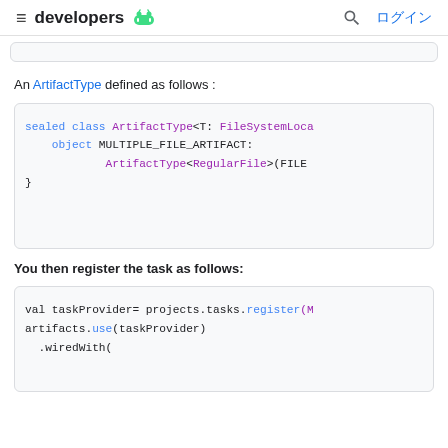≡ developers [android icon] ログイン
An ArtifactType defined as follows :
[Figure (screenshot): Code block showing: sealed class ArtifactType<T: FileSystemLoca    object MULTIPLE_FILE_ARTIFACT:        ArtifactType<RegularFile>(FILE}]
You then register the task as follows:
[Figure (screenshot): Code block showing: val taskProvider= projects.tasks.register(M artifacts.use(taskProvider)  .wiredWith(]